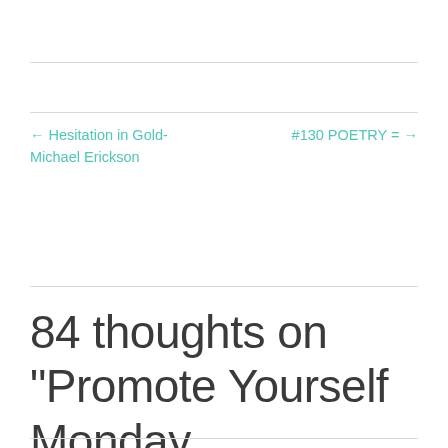← Hesitation in Gold-Michael Erickson
#130 POETRY = →
84 thoughts on “Promote Yourself Monday, November 25, 2019”